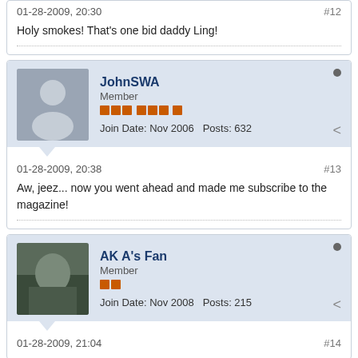01-28-2009, 20:30
#12
Holy smokes! That's one bid daddy Ling!
JohnSWA
Member
Join Date: Nov 2006   Posts: 632
01-28-2009, 20:38
#13
Aw, jeez... now you went ahead and made me subscribe to the magazine!
AK A's Fan
Member
Join Date: Nov 2008   Posts: 215
01-28-2009, 21:04
#14